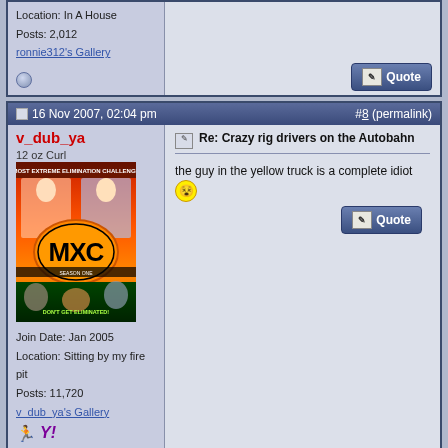Location: In A House
Posts: 2,012
ronnie312's Gallery
16 Nov 2007, 02:04 pm  #8 (permalink)
v_dub_ya
12 oz Curl
Join Date: Jan 2005
Location: Sitting by my fire pit
Posts: 11,720
v_dub_ya's Gallery
[Figure (photo): MXC Most Extreme Elimination Challenge DVD cover artwork showing two hosts and MXC orange logo on black background]
Re: Crazy rig drivers on the Autobahn
the guy in the yellow truck is a complete idiot 😲
Post Reply